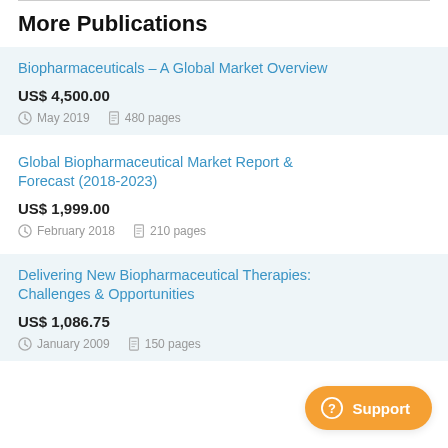More Publications
Biopharmaceuticals – A Global Market Overview
US$ 4,500.00
May 2019    480 pages
Global Biopharmaceutical Market Report & Forecast (2018-2023)
US$ 1,999.00
February 2018    210 pages
Delivering New Biopharmaceutical Therapies: Challenges & Opportunities
US$ 1,086.75
January 2009    150 pages